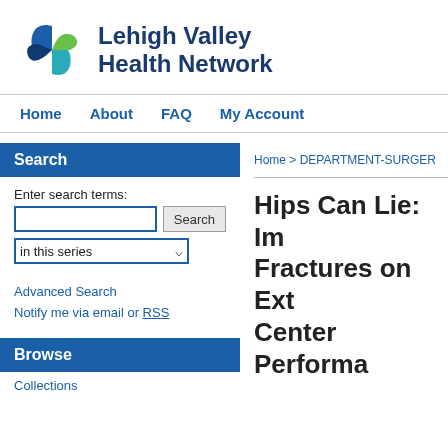[Figure (logo): Lehigh Valley Health Network logo with stylized pinwheel icon in blue and green]
Lehigh Valley Health Network
Home
About
FAQ
My Account
Search
Enter search terms:
in this series
Advanced Search
Notify me via email or RSS
Browse
Collections
Home > DEPARTMENT-SURGER
Hips Can Lie: Im Fractures on Ext Center Performa